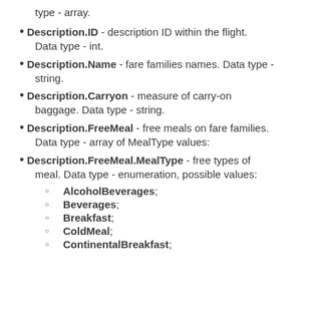type - array.
Description.ID - description ID within the flight. Data type - int.
Description.Name - fare families names. Data type - string.
Description.Carryon - measure of carry-on baggage. Data type - string.
Description.FreeMeal - free meals on fare families. Data type - array of MealType values:
Description.FreeMeal.MealType - free types of meal. Data type - enumeration, possible values:
AlcoholBeverages;
Beverages;
Breakfast;
ColdMeal;
ContinentalBreakfast;